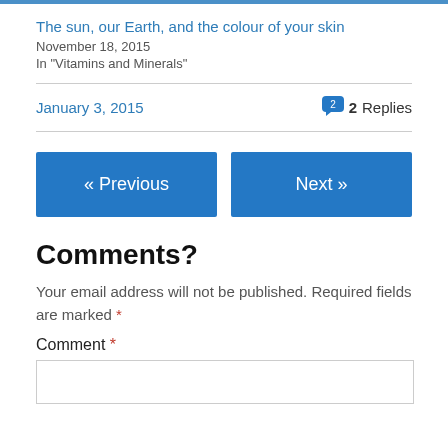The sun, our Earth, and the colour of your skin
November 18, 2015
In "Vitamins and Minerals"
January 3, 2015
2 Replies
« Previous
Next »
Comments?
Your email address will not be published. Required fields are marked *
Comment *